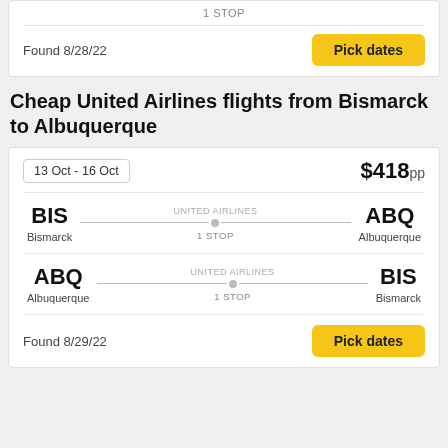1 STOP
Found 8/28/22
Pick dates
Cheap United Airlines flights from Bismarck to Albuquerque
13 Oct - 16 Oct
$418pp
BIS Bismarck UNITED AIRLINES 1 STOP ABQ Albuquerque
ABQ Albuquerque UNITED AIRLINES 1 STOP BIS Bismarck
Found 8/29/22
Pick dates